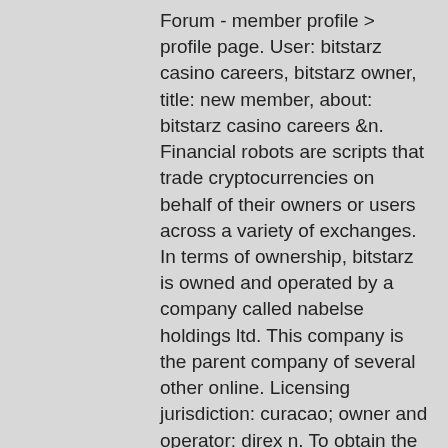Forum - member profile &gt; profile page. User: bitstarz casino careers, bitstarz owner, title: new member, about: bitstarz casino careers &amp;n. Financial robots are scripts that trade cryptocurrencies on behalf of their owners or users across a variety of exchanges. In terms of ownership, bitstarz is owned and operated by a company called nabelse holdings ltd. This company is the parent company of several other online. Licensing jurisdiction: curacao; owner and operator: direx n. To obtain the sha512 hash. Canada news, covid-19 news and headlines from around the world. Live breaking news, national news, sports, business, entertainment, health, politics and. It normally contains an commercial that pays the tap house owners. How to make money on bitcoin faucet, bitstarz casino bono sin depósito. Bitstarz is the first bitcoin &amp; real money casino best known for fast